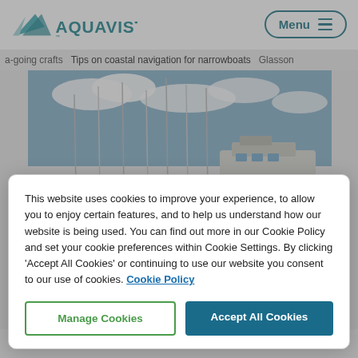[Figure (logo): Aquavista logo with teal mountain/triangle icon and bold teal AQUAVISTA text]
Menu
a-going crafts   Tips on coastal navigation for narrowboats   Glasson
[Figure (photo): Marina photo showing sailboats and yachts moored at a dock under a blue sky with clouds]
This website uses cookies to improve your experience, to allow you to enjoy certain features, and to help us understand how our website is being used. You can find out more in our Cookie Policy and set your cookie preferences within Cookie Settings. By clicking 'Accept All Cookies' or continuing to use our website you consent to our use of cookies. Cookie Policy
Manage Cookies
Accept All Cookies
The sea lock to Glasson is operated by the port commission and...